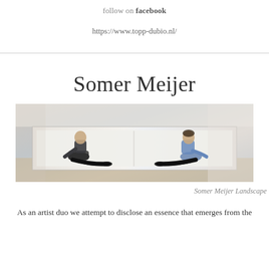follow on facebook
https://www.topp-dubio.nl/
Somer Meijer
[Figure (photo): Two people sitting inside a horizontal rectangular alcove built into a wall, facing each other. The left person wears dark clothing, the right person wears a light blue shirt. The space is white inside with wooden panel exterior.]
Somer Meijer Landscape
As an artist duo we attempt to disclose an essence that emerges from the